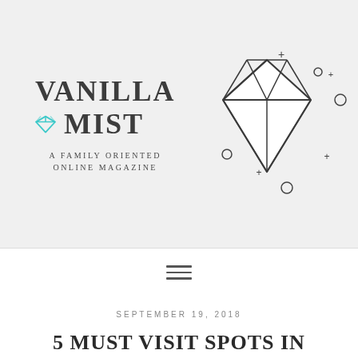[Figure (logo): Vanilla Mist logo with diamond gem icon and decorative diamond outline illustration, plus small plus and circle decorative elements. Text reads VANILLA MIST / A FAMILY ORIENTED ONLINE MAGAZINE]
[Figure (other): Hamburger menu icon with three horizontal lines]
SEPTEMBER 19, 2018
5 MUST VISIT SPOTS IN FLORIDA